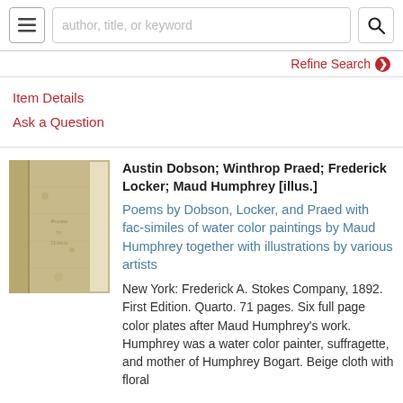author, title, or keyword
Refine Search
Item Details
Ask a Question
[Figure (photo): Old worn book cover, beige/tan colored, shown closed]
Austin Dobson; Winthrop Praed; Frederick Locker; Maud Humphrey [illus.]
Poems by Dobson, Locker, and Praed with fac-similes of water color paintings by Maud Humphrey together with illustrations by various artists
New York: Frederick A. Stokes Company, 1892. First Edition. Quarto. 71 pages. Six full page color plates after Maud Humphrey's work. Humphrey was a water color painter, suffragette, and mother of Humphrey Bogart. Beige cloth with floral